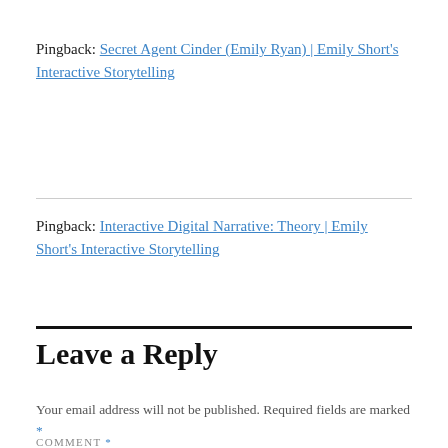Pingback: Secret Agent Cinder (Emily Ryan) | Emily Short's Interactive Storytelling
Pingback: Interactive Digital Narrative: Theory | Emily Short's Interactive Storytelling
Leave a Reply
Your email address will not be published. Required fields are marked *
COMMENT *